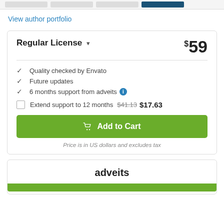View author portfolio
Regular License ▼  $59
Quality checked by Envato
Future updates
6 months support from adveits ℹ
Extend support to 12 months  $41.13 (strikethrough)  $17.63
Add to Cart
Price is in US dollars and excludes tax
adveits